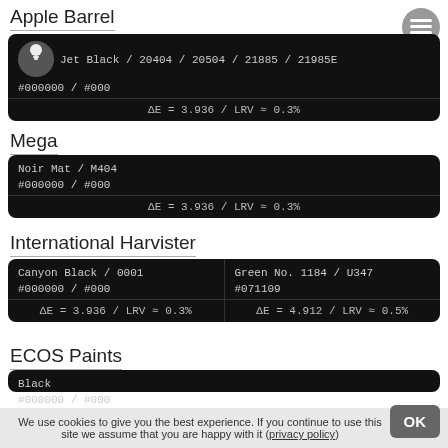Apple Barrel
Jet Black / 20404 / 20504 / 21885 / 21985E
#000000 / #000
ΔE = 3.936 / LRV ≈ 0.3%
Mega
Noir Mat / M404
#000000 / #000
ΔE = 3.936 / LRV ≈ 0.3%
International Harvister
Canyon Black / 0001
#000000 / #000
ΔE = 3.936 / LRV ≈ 0.3%
Green No. 1184 / U347
#071109
ΔE = 4.912 / LRV ≈ 0.5%
ECOS Paints
Black
#000000 / #000
We use cookies to give you the best experience. If you continue to use this site we assume that you are happy with it (privacy policy)